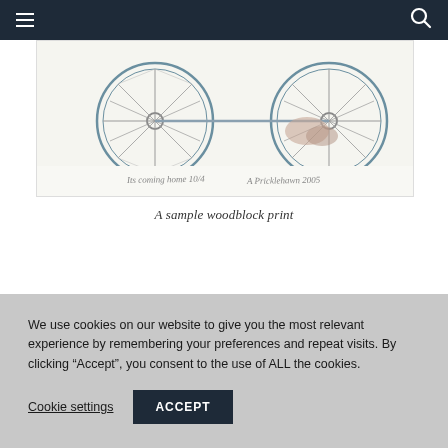Navigation bar with hamburger menu and search icon
[Figure (illustration): A woodblock print showing two bicycles with detailed spokes and wheels, with a handwritten inscription and signature dated 2005 at the bottom]
A sample woodblock print
We use cookies on our website to give you the most relevant experience by remembering your preferences and repeat visits. By clicking “Accept”, you consent to the use of ALL the cookies.
Cookie settings | ACCEPT